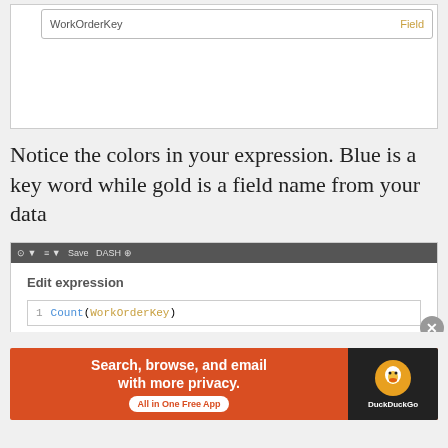[Figure (screenshot): Screenshot showing a field selector UI with 'WorkOrderKey' labeled as 'Field' in orange/gold text]
Notice the colors in your expression. Blue is a key word while gold is a field name from your data
[Figure (screenshot): Screenshot of 'Edit expression' dialog with code editor showing line 1: Count(WorkOrderKey) where Count is in blue and WorkOrderKey is in gold/orange]
Advertisements
[Figure (infographic): DuckDuckGo advertisement banner: 'Search, browse, and email with more privacy. All in One Free App' with DuckDuckGo logo]